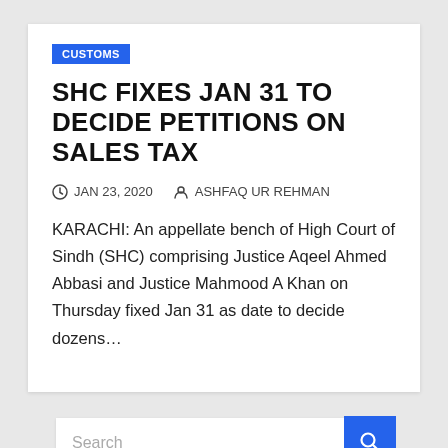CUSTOMS
SHC FIXES JAN 31 TO DECIDE PETITIONS ON SALES TAX
JAN 23, 2020   ASHFAQ UR REHMAN
KARACHI: An appellate bench of High Court of Sindh (SHC) comprising Justice Aqeel Ahmed Abbasi and Justice Mahmood A Khan on Thursday fixed Jan 31 as date to decide dozens…